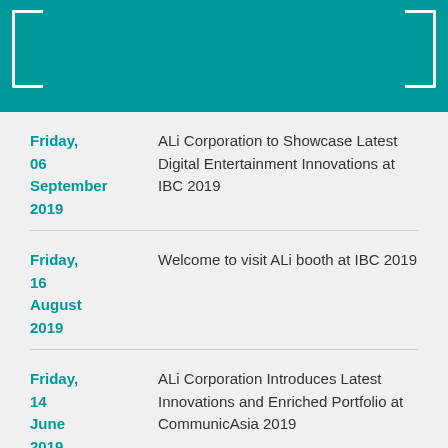Friday, 06 September 2019 — ALi Corporation to Showcase Latest Digital Entertainment Innovations at IBC 2019
Friday, 16 August 2019 — Welcome to visit ALi booth at IBC 2019
Friday, 14 June 2019 — ALi Corporation Introduces Latest Innovations and Enriched Portfolio at CommunicAsia 2019